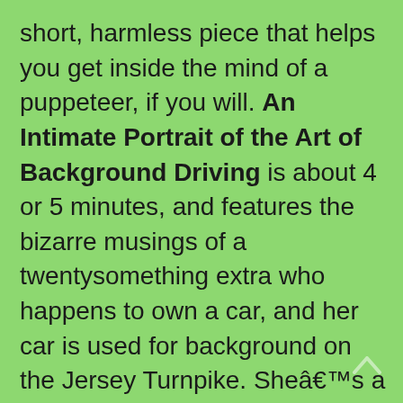short, harmless piece that helps you get inside the mind of a puppeteer, if you will. An Intimate Portrait of the Art of Background Driving is about 4 or 5 minutes, and features the bizarre musings of a twentysomething extra who happens to own a car, and her car is used for background on the Jersey Turnpike. Sheâ€™s a strange one as the talk ranges from being Mary Kay Placeâ€™s stand-in to the type of vegetables that were good at the lunch break. Worth your time in avoiding. Spike Jonze